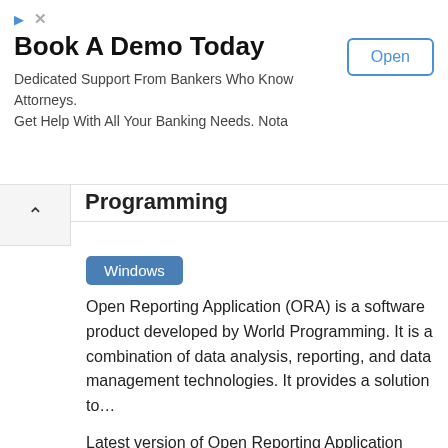[Figure (screenshot): Advertisement banner: 'Book A Demo Today' with Open button. Dedicated Support From Bankers Who Know Attorneys. Get Help With All Your Banking Needs. Nota]
Programming
Windows
Open Reporting Application (ORA) is a software product developed by World Programming. It is a combination of data analysis, reporting, and data management technologies. It provides a solution to...
Latest version of Open Reporting Application (ORA) is 1.3 and it was released on February 2008.
Tags: Business Software
KXEN by KXEN Inc.